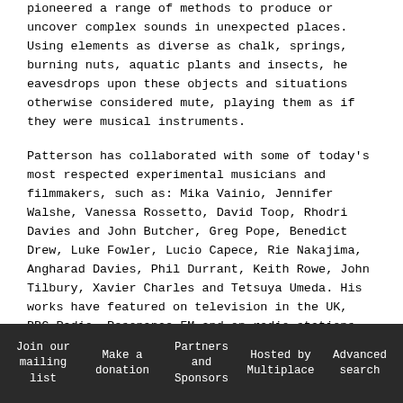pioneered a range of methods to produce or uncover complex sounds in unexpected places. Using elements as diverse as chalk, springs, burning nuts, aquatic plants and insects, he eavesdrops upon these objects and situations otherwise considered mute, playing them as if they were musical instruments.
Patterson has collaborated with some of today's most respected experimental musicians and filmmakers, such as: Mika Vainio, Jennifer Walshe, Vanessa Rossetto, David Toop, Rhodri Davies and John Butcher, Greg Pope, Benedict Drew, Luke Fowler, Lucio Capece, Rie Nakajima, Angharad Davies, Phil Durrant, Keith Rowe, John Tilbury, Xavier Charles and Tetsuya Umeda. His works have featured on television in the UK, BBC Radio, Resonance FM and on radio stations
Join our mailing list | Make a donation | Partners and Sponsors | Hosted by Multiplace | Advanced search